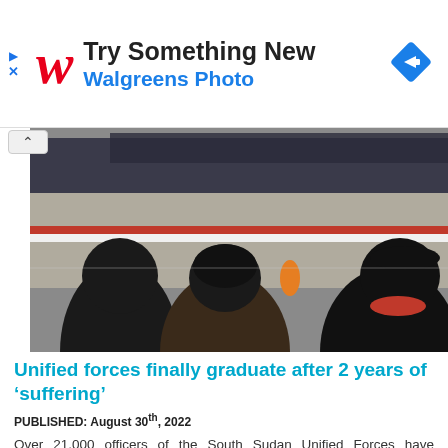[Figure (logo): Walgreens advertisement banner with red cursive W logo, 'Try Something New' headline, 'Walgreens Photo' subtitle in blue, and a blue diamond navigation icon on the right]
[Figure (photo): Outdoor military graduation ceremony; two soldiers viewed from behind in dark uniforms and berets, facing a parade ground with rows of uniformed soldiers and a red-striped road visible in the background]
Unified forces finally graduate after 2 years of ‘suffering’
PUBLISHED: August 30th, 2022
Over 21,000 officers of the South Sudan Unified Forces have graduated in preparation for their deployment on Tuesday in ...